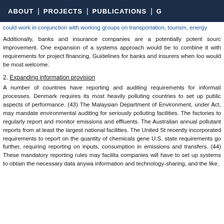ABOUT | PROJECTS | PUBLICATIONS | G
could work in conjunction with working groups on transportation, tourism, energy
Additionally, banks and insurance companies are a potentially potent source of improvement. One expansion of a systems approach would be to combine it with requirements for project financing. Guidelines for banks and insurers when looking would be most welcome.
2. Expanding information provision
A number of countries have reporting and auditing requirements for information processes. Denmark requires its most heavily polluting countries to set up public aspects of performance. (43) The Malaysian Department of Environment, under Act, may mandate environmental auditing for seriously polluting facilities. The factories to regularly report and monitor emissions and effluents. The Australian annual pollutant reports from at least the largest national facilities. The United St recently incorporated requirements to report on the quantity of chemicals gene U.S. state requirements go further, requiring reporting on inputs, consumption in emissions and transfers. (44) These mandatory reporting rules may facilita companies will have to set up systems to obtain the necessary data anywa information and technology-sharing, and the like.